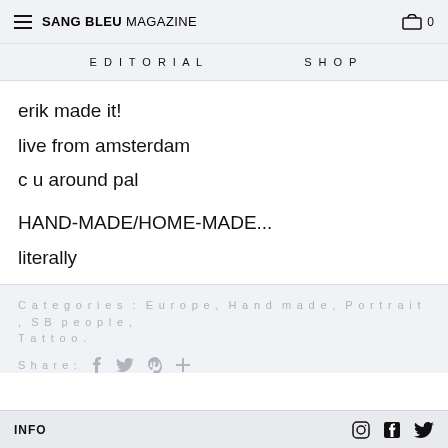SANG BLEU MAGAZINE | EDITORIAL | SHOP
erik made it!
live from amsterdam
c u around pal
HAND-MADE/HOME-MADE...
literally
Categories : Europe, Hand made, Portrait, SB people, Tattoo.
Share :
INFO